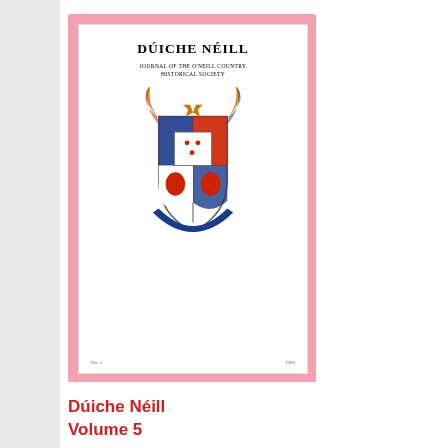[Figure (illustration): Book cover of Dúiche Néill Volume 5, Journal of the O'Neill Country Historical Society. White cover with pink/red border, featuring a heraldic coat of arms in color (red, blue, gold, white). Title text at top, society name below it, issue number and year at bottom.]
Dúiche Néill Volume 5
£10.00
Add to cart